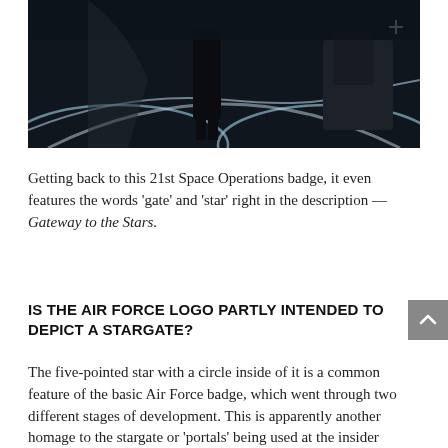[Figure (photo): Dark cinematic scene showing figures in a futuristic control room with circular glowing floor design and blue/teal lighting]
Getting back to this 21st Space Operations badge, it even features the words ‘gate’ and ‘star’ right in the description — Gateway to the Stars.
IS THE AIR FORCE LOGO PARTLY INTENDED TO DEPICT A STARGATE?
The five-pointed star with a circle inside of it is a common feature of the basic Air Force badge, which went through two different stages of development. This is apparently another homage to the stargate or ‘portals’ being used at the insider